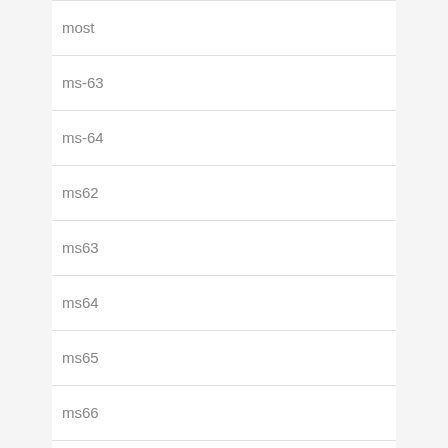most
ms-63
ms-64
ms62
ms63
ms64
ms65
ms66
ms67
much